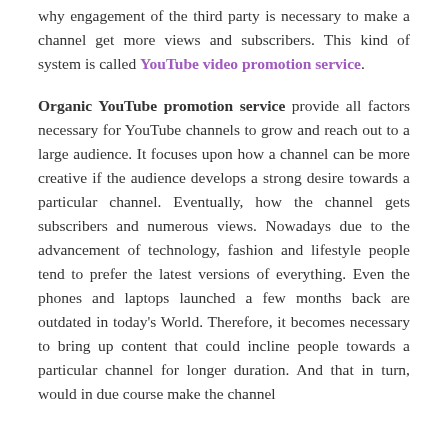why engagement of the third party is necessary to make a channel get more views and subscribers. This kind of system is called YouTube video promotion service.
Organic YouTube promotion service provide all factors necessary for YouTube channels to grow and reach out to a large audience. It focuses upon how a channel can be more creative if the audience develops a strong desire towards a particular channel. Eventually, how the channel gets subscribers and numerous views. Nowadays due to the advancement of technology, fashion and lifestyle people tend to prefer the latest versions of everything. Even the phones and laptops launched a few months back are outdated in today's World. Therefore, it becomes necessary to bring up content that could incline people towards a particular channel for longer duration. And that in turn, would in due course make the channel